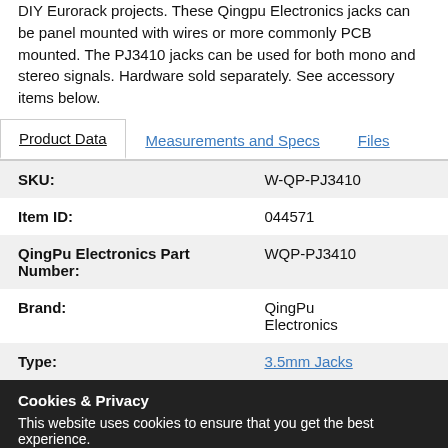DIY Eurorack projects. These Qingpu Electronics jacks can be panel mounted with wires or more commonly PCB mounted. The PJ3410 jacks can be used for both mono and stereo signals. Hardware sold separately. See accessory items below.
Product Data | Measurements and Specs | Files
|  |  |
| --- | --- |
| SKU: | W-QP-PJ3410 |
| Item ID: | 044571 |
| QingPu Electronics Part Number: | WQP-PJ3410 |
| Brand: | QingPu Electronics |
| Type: | 3.5mm Jacks |
Cookies & Privacy
This website uses cookies to ensure that you get the best experience.
More Information